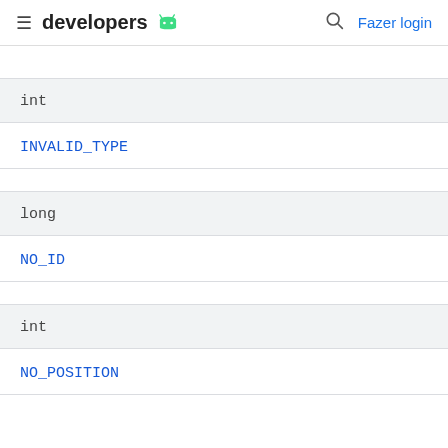developers  Fazer login
int
INVALID_TYPE
long
NO_ID
int
NO_POSITION